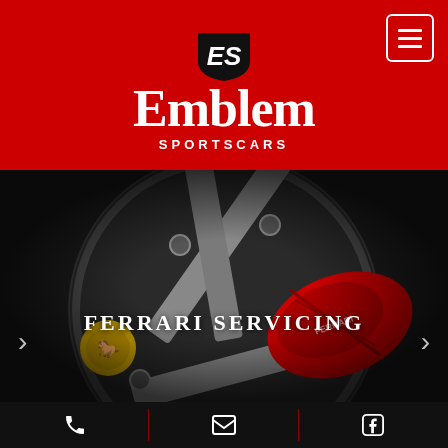[Figure (logo): Emblem Sportscars logo with ES shield icon in black on red background, white bold serif text 'Emblem' and white spaced caps 'SPORTSCARS']
[Figure (photo): Close-up photograph of a Ferrari wheel showing red brake caliper with Ferrari branding, silver spokes, and yellow Ferrari horse hub cap]
FERRARI SERVICING
[Figure (infographic): Black footer bar with three sections separated by red vertical lines: phone icon, email/envelope icon, Facebook icon]